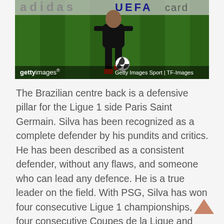[Figure (photo): A footballer dribbling a ball on a green pitch, shot from behind. Getty Images watermark bar at bottom with 'Getty Images Sport | TF-Images'.]
The Brazilian centre back is a defensive pillar for the Ligue 1 side Paris Saint Germain. Silva has been recognized as a complete defender by his pundits and critics. He has been described as a consistent defender, without any flaws, and someone who can lead any defence. He is a true leader on the field. With PSG, Silva has won four consecutive Ligue 1 championships, four consecutive Coupes de la Ligue and three consecutive Coupe de France.